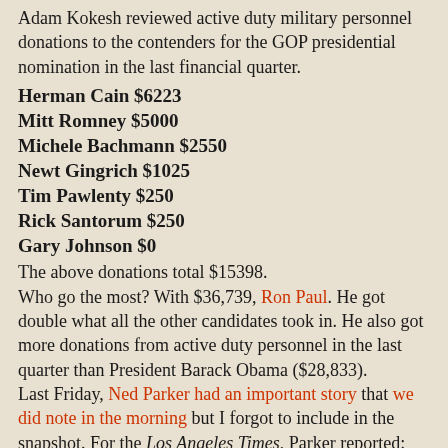Adam Kokesh reviewed active duty military personnel donations to the contenders for the GOP presidential nomination in the last financial quarter.
Herman Cain $6223
Mitt Romney $5000
Michele Bachmann $2550
Newt Gingrich $1025
Tim Pawlenty $250
Rick Santorum $250
Gary Johnson $0
The above donations total $15398.
Who go the most? With $36,739, Ron Paul. He got double what all the other candidates took in. He also got more donations from active duty personnel in the last quarter than President Barack Obama ($28,833).
Last Friday, Ned Parker had an important story that we did note in the morning but I forgot to include in the snapshot. For the Los Angeles Times, Parker reported:
Elite units controlled by Prime Minister Nouri Maliki's military office are ignoring members of parliament and the government's own directive by operating a clandestine jail in Baghdad's Green Zone where